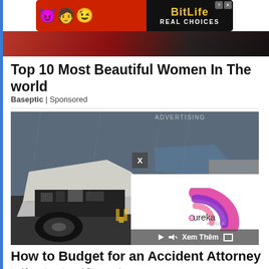[Figure (screenshot): BitLife advertisement banner with emoji characters on red background and REAL CHOICES tagline on black background]
[Figure (photo): Cropped photo of women in red outfits (partial, partially visible)]
Top 10 Most Beautiful Women In The world
Baseptic | Sponsored
[Figure (photo): Photo of a crashed/wrecked car showing significant front-end damage, with a video overlay panel from Ureka Media showing controls and Xem Thêm button]
How to Budget for an Accident Attorney
top10.recetasget.com | Sponsored